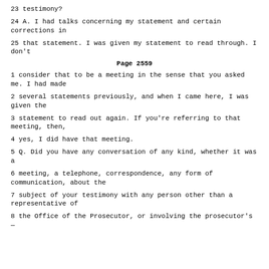testimony?
23 testimony?
24 A. I had talks concerning my statement and certain corrections in
25 that statement. I was given my statement to read through. I don't
Page 2559
1 consider that to be a meeting in the sense that you asked me. I had made
2 several statements previously, and when I came here, I was given the
3 statement to read out again. If you're referring to that meeting, then,
4 yes, I did have that meeting.
5 Q. Did you have any conversation of any kind, whether it was a
6 meeting, a telephone, correspondence, any form of communication, about the
7 subject of your testimony with any person other than a representative of
8 the Office of the Prosecutor, or involving the prosecutor's —